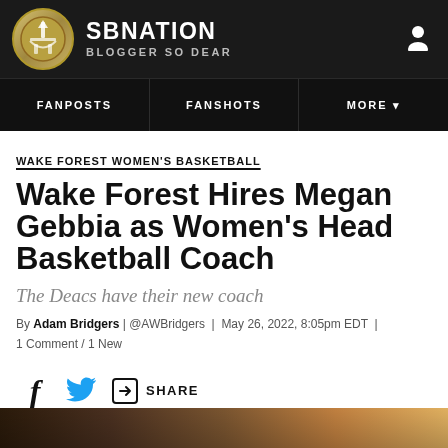SB NATION / BLOGGER SO DEAR
FANPOSTS | FANSHOTS | MORE
WAKE FOREST WOMEN'S BASKETBALL
Wake Forest Hires Megan Gebbia as Women's Head Basketball Coach
The Deacs have their new coach
By Adam Bridgers | @AWBridgers | May 26, 2022, 8:05pm EDT | 1 Comment / 1 New
[Figure (other): Social share icons: Facebook f, Twitter bird, share icon with SHARE text]
[Figure (photo): Bottom partial image strip showing a person/photo]